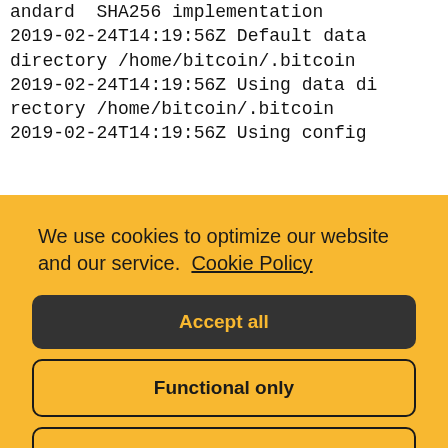andard SHA256 implementation
2019-02-24T14:19:56Z Default data directory /home/bitcoin/.bitcoin
2019-02-24T14:19:56Z Using data directory /home/bitcoin/.bitcoin
2019-02-24T14:19:56Z Using config
We use cookies to optimize our website and our service.  Cookie Policy
Accept all
Functional only
View preferences
ead start